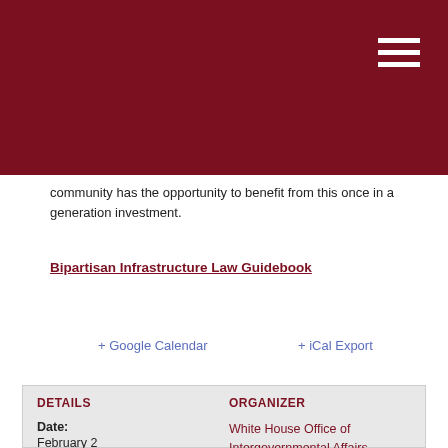[Dark red header bar with hamburger menu icon]
community has the opportunity to benefit from this once in a generation investment.
Bipartisan Infrastructure Law Guidebook
+ Google Calendar
+ iCal Export
| DETAILS | ORGANIZER |
| --- | --- |
| Date: | White House Office of Intergovernmental Affairs |
| February 2 |  |
| Time: |  |
| 2:00 pm |  |